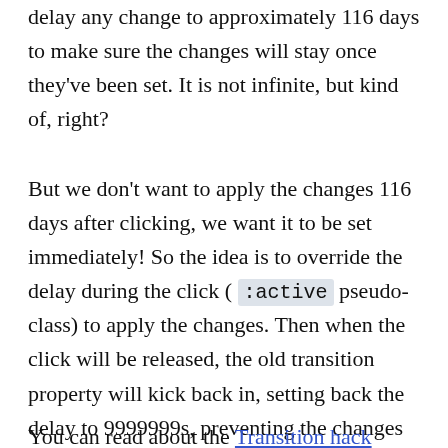delay any change to approximately 116 days to make sure the changes will stay once they've been set. It is not infinite, but kind of, right?
But we don't want to apply the changes 116 days after clicking, we want it to be set immediately! So the idea is to override the delay during the click ( :active pseudo-class) to apply the changes. Then when the click will be released, the old transition property will kick back in, setting back the delay to 9999999s, preventing the changes to going back to the default state.
You can read about the Transition hack